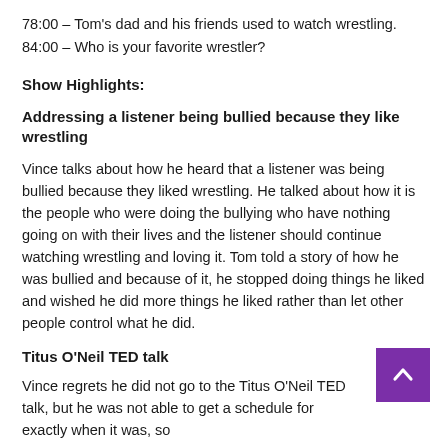78:00 – Tom's dad and his friends used to watch wrestling.
84:00 – Who is your favorite wrestler?
Show Highlights:
Addressing a listener being bullied because they like wrestling
Vince talks about how he heard that a listener was being bullied because they liked wrestling. He talked about how it is the people who were doing the bullying who have nothing going on with their lives and the listener should continue watching wrestling and loving it. Tom told a story of how he was bullied and because of it, he stopped doing things he liked and wished he did more things he liked rather than let other people control what he did.
Titus O'Neil TED talk
Vince regrets he did not go to the Titus O'Neil TED talk, but he was not able to get a schedule for exactly when it was, so